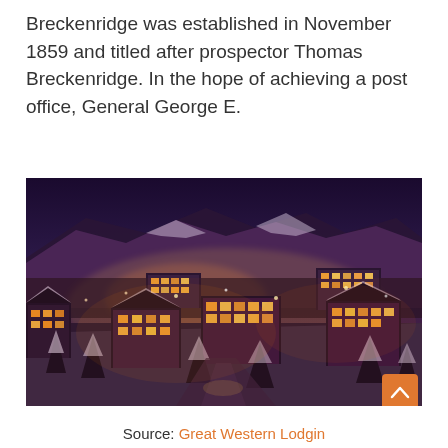Breckenridge was established in November 1859 and titled after prospector Thomas Breckenridge. In the hope of achieving a post office, General George E.
[Figure (photo): Aerial night photo of Breckenridge ski town in winter, showing snow-covered buildings, glowing warm lights from hotels and lodges, snow-laden pine trees, and mountain slopes in the background.]
Source: Great Western Lodgin